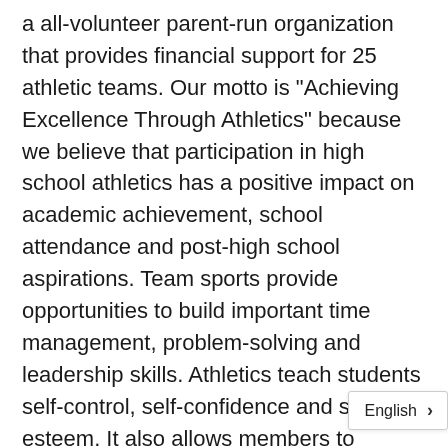a all-volunteer parent-run organization that provides financial support for 25 athletic teams. Our motto is "Achieving Excellence Through Athletics" because we believe that participation in high school athletics has a positive impact on academic achievement, school attendance and post-high school aspirations. Team sports provide opportunities to build important time management, problem-solving and leadership skills. Athletics teach students self-control, self-confidence and self-esteem. It also allows members to improve and maintain their physical health.

Purgolder Boosters raise much needed funds for new and safer equipment, replacement uniforms, concussion testing and scholarships thro